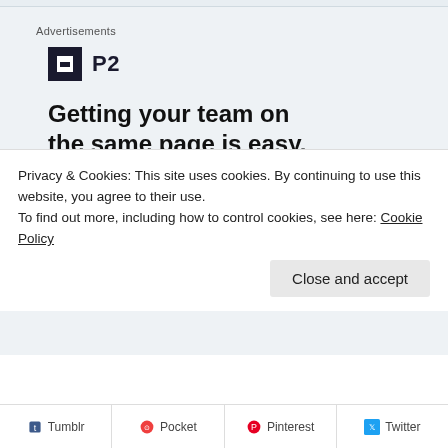Advertisements
[Figure (logo): P2 logo: dark square icon with white rectangle cutout, followed by bold text 'P2']
Getting your team on the same page is easy. And free.
[Figure (illustration): Three circular avatar photos of people plus a blue circle with a plus sign, representing team members]
Privacy & Cookies: This site uses cookies. By continuing to use this website, you agree to their use.
To find out more, including how to control cookies, see here: Cookie Policy
Close and accept
Tumblr | Pocket | Pinterest | Twitter